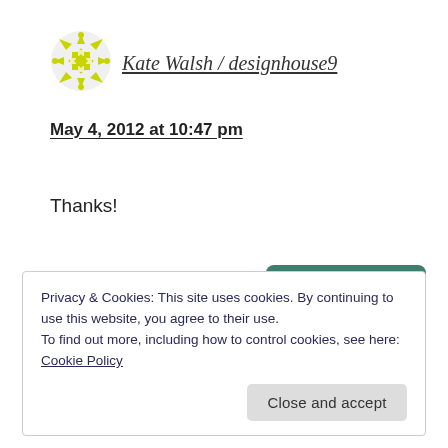[Figure (logo): Yellow snowflake/star decorative avatar icon]
Kate Walsh / designhouse9
May 4, 2012 at 10:47 pm
Thanks!
Reply
Privacy & Cookies: This site uses cookies. By continuing to use this website, you agree to their use.
To find out more, including how to control cookies, see here: Cookie Policy
Close and accept